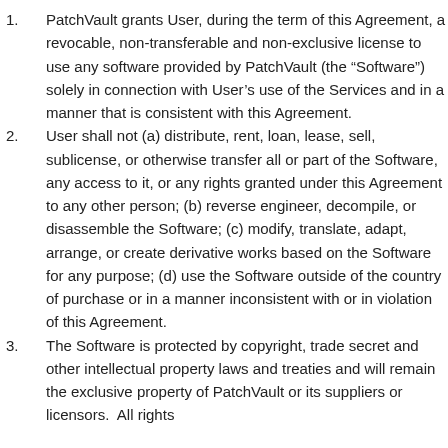PatchVault grants User, during the term of this Agreement, a revocable, non-transferable and non-exclusive license to use any software provided by PatchVault (the “Software”) solely in connection with User’s use of the Services and in a manner that is consistent with this Agreement.
User shall not (a) distribute, rent, loan, lease, sell, sublicense, or otherwise transfer all or part of the Software, any access to it, or any rights granted under this Agreement to any other person; (b) reverse engineer, decompile, or disassemble the Software; (c) modify, translate, adapt, arrange, or create derivative works based on the Software for any purpose; (d) use the Software outside of the country of purchase or in a manner inconsistent with or in violation of this Agreement.
The Software is protected by copyright, trade secret and other intellectual property laws and treaties and will remain the exclusive property of PatchVault or its suppliers or licensors.  All rights